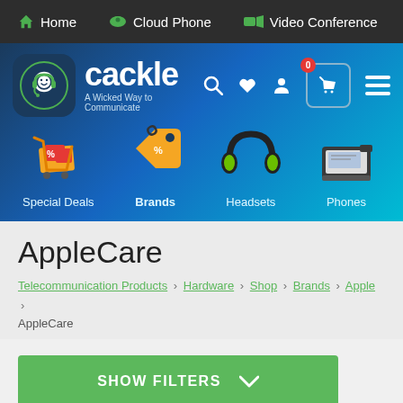Home | Cloud Phone | Video Conference
[Figure (screenshot): Cackle website header with logo, brand name 'cackle', tagline 'A Wicked Way to Communicate', search, heart, user, cart (0), and menu icons]
[Figure (infographic): Four category icons on blue gradient background: Special Deals (shopping cart with discount tags), Brands (price tag), Headsets (gaming headset), Phones (desk phone)]
AppleCare
Telecommunication Products > Hardware > Shop > Brands > Apple > AppleCare
[Figure (other): SHOW FILTERS button with green background and chevron down icon]